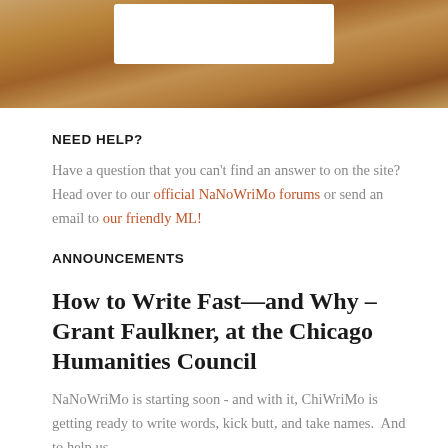[Figure (photo): Header image with autumn leaves in brown/orange tones, with a white rectangular box overlaid at the top center.]
NEED HELP?
Have a question that you can't find an answer to on the site? Head over to our official NaNoWriMo forums or send an email to our friendly ML!
ANNOUNCEMENTS
How to Write Fast—and Why – Grant Faulkner, at the Chicago Humanities Council
NaNoWriMo is starting soon - and with it, ChiWriMo is getting ready to write words, kick butt, and take names.  And to help us